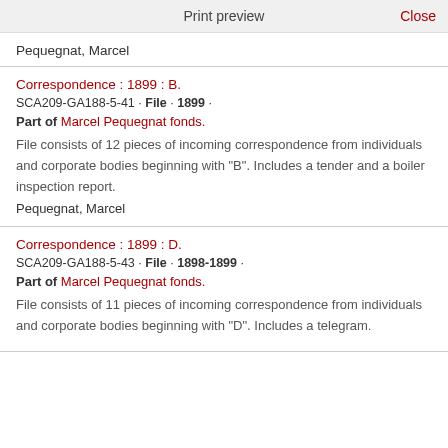Print preview   Close
Pequegnat, Marcel
Correspondence : 1899 : B.
SCA209-GA188-5-41 · File · 1899 ·
Part of Marcel Pequegnat fonds.
File consists of 12 pieces of incoming correspondence from individuals and corporate bodies beginning with "B". Includes a tender and a boiler inspection report.
Pequegnat, Marcel
Correspondence : 1899 : D.
SCA209-GA188-5-43 · File · 1898-1899 ·
Part of Marcel Pequegnat fonds.
File consists of 11 pieces of incoming correspondence from individuals and corporate bodies beginning with "D". Includes a telegram.